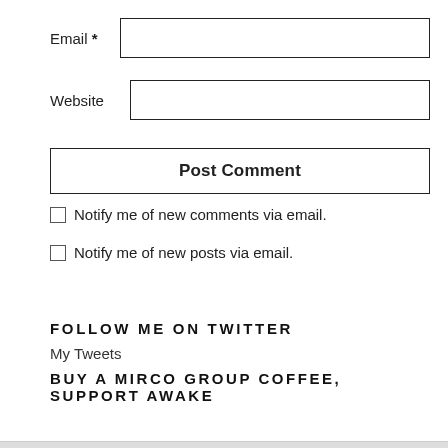Email *
Website
Post Comment
Notify me of new comments via email.
Notify me of new posts via email.
FOLLOW ME ON TWITTER
My Tweets
BUY A MIRCO GROUP COFFEE, SUPPORT AWAKE